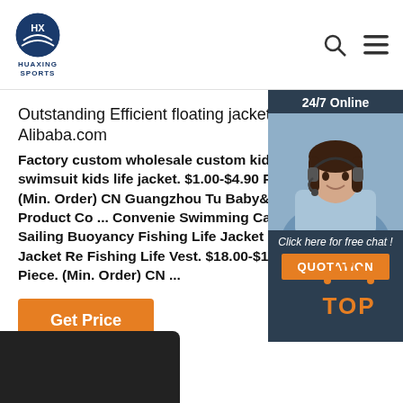HUAXING SPORTS
Outstanding Efficient floating jacket - Alibaba.com
Factory custom wholesale custom kids swimsuit kids life jacket. $1.00-$4.90 Pieces (Min. Order) CN Guangzhou Tu Baby&mother Product Co ... Convenient Swimming Canoeing Sailing Buoyancy Fishing Life Jacket Floating Jacket Re Fishing Life Vest. $18.00-$19.00 Piece. (Min. Order) CN ...
[Figure (photo): Customer service representative with headset, chat widget with 24/7 Online label, Click here for free chat!, and QUOTATION button]
[Figure (illustration): TOP back-to-top button with orange dots and text]
[Figure (photo): Bottom partial image of a dark product, likely a life jacket]